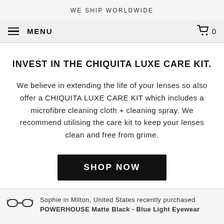WE SHIP WORLDWIDE
MENU
INVEST IN THE CHIQUITA LUXE CARE KIT.
We believe in extending the life of your lenses so also offer a CHIQUITA LUXE CARE KIT which includes a microfibre cleaning cloth + cleaning spray. We recommend utilising the care kit to keep your lenses clean and free from grime.
SHOP NOW
Sophie in Milton, United States recently purchased POWERHOUSE Matte Black - Blue Light Eyewear